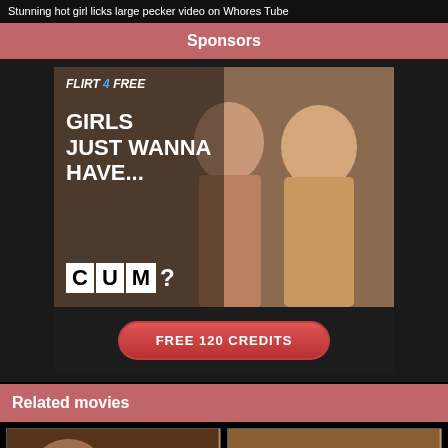Stunning hot girl licks large pecker video on Whores Tube
Sponsors
[Figure (illustration): Flirt4Free advertisement showing two women with text 'GIRLS JUST WANNA HAVE... CUM?' and a button reading 'FREE 120 CREDITS']
Related movies
[Figure (photo): Two thumbnail images of related video content]